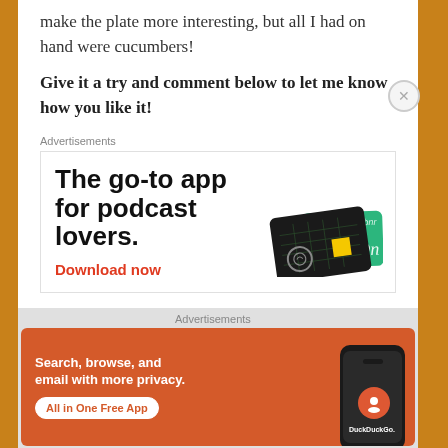make the plate more interesting, but all I had on hand were cucumbers!
Give it a try and comment below to let me know how you like it!
[Figure (infographic): Advertisement banner for a podcast app. White background with bold black text reading 'The go-to app for podcast lovers.' Red 'Download now' link. Right side shows stylized black and green cards with a yellow square and logo.]
[Figure (infographic): DuckDuckGo advertisement on orange/red background. White text reads 'Search, browse, and email with more privacy.' White pill button says 'All in One Free App'. Right side shows a smartphone with DuckDuckGo logo and wordmark.]